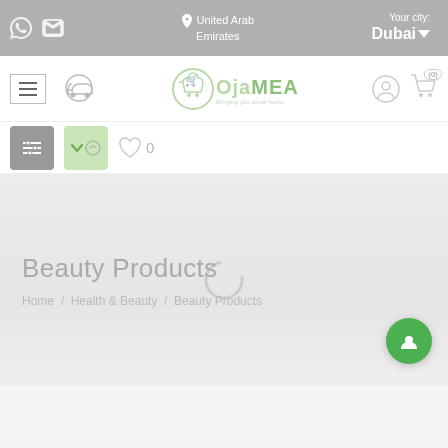United Arab Emirates | Your city: Dubai
[Figure (screenshot): OjaMEA e-commerce website navigation bar with logo, hamburger menu, delivery icon, user icon, and cart (0)]
[Figure (screenshot): Filter bar with filter button, sort/dropdown button, search icon, and wishlist icon with count 0]
Beauty Products
Home / Health & Beauty / Beauty Products